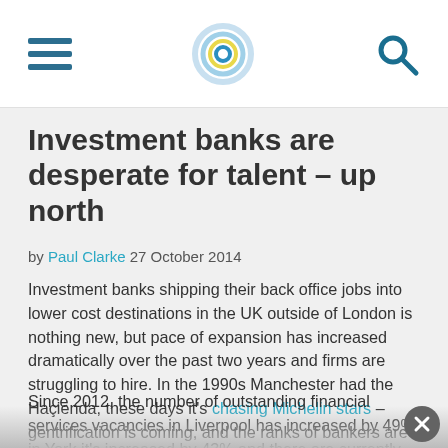[Navigation header with hamburger menu, logo, and search icon]
Investment banks are desperate for talent – up north
by Paul Clarke 27 October 2014
Investment banks shipping their back office jobs into lower cost destinations in the UK outside of London is nothing new, but pace of expansion has increased dramatically over the past two years and firms are struggling to hire. In the 1990s Manchester had the Haçienda, these days it's chasing Michelin stars – gentrification is coming, and the ranks of bankers are growing.
Since 2012, the number of outstanding financial services vacancies in Liverpool has increased by 49%, in York it's increased by 43% and there are currently over 2,700 jobs in the sector available in Manchester – an increase of